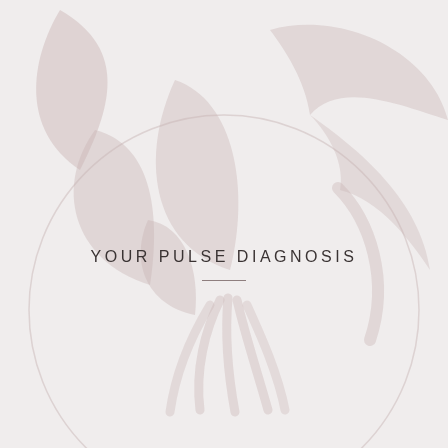[Figure (illustration): Faint watermark-style botanical and bird illustration: large circle outline with stylized lotus or leaf shapes and a bird form, rendered in muted dusty rose/mauve tones on a light grey-beige background]
YOUR PULSE DIAGNOSIS